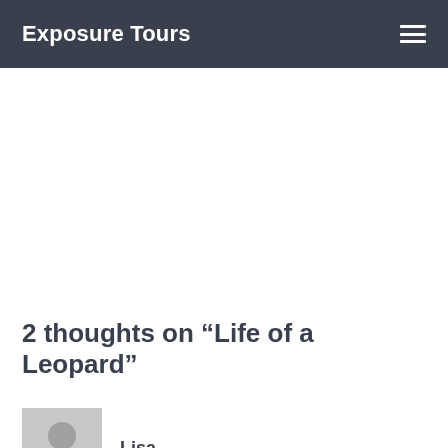Exposure Tours
2 thoughts on “Life of a Leopard”
Lisa